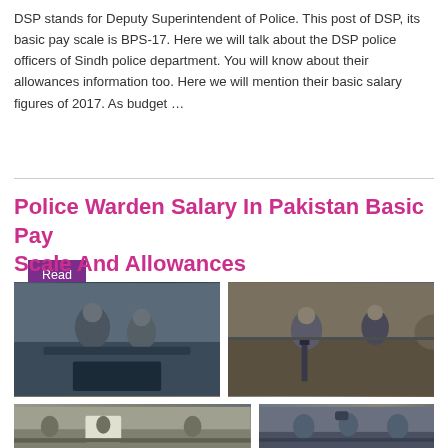DSP stands for Deputy Superintendent of Police. This post of DSP, its basic pay scale is BPS-17. Here we will talk about the DSP police officers of Sindh police department. You will know about their allowances information too. Here we will mention their basic salary figures of 2017. As budget …
Read More »
Police Warden Salary In Pakistan Basic Pay Scale And Allowances
[Figure (photo): Pakistani police officers in uniform, one holding dark object near a vehicle]
[Figure (photo): Pakistani police officers in tan/khaki uniforms standing in formation on a street, one holding a rifle]
[Figure (photo): Crowd scene with police and civilians on a street]
[Figure (photo): Police officers in black uniforms standing together]